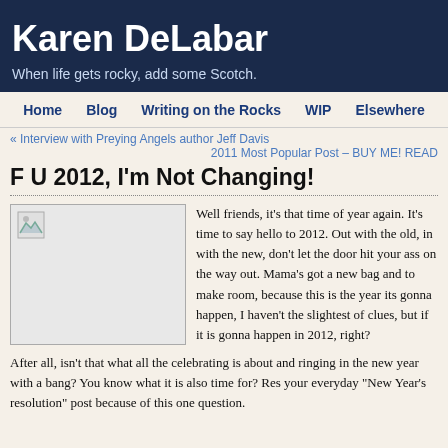Karen DeLabar
When life gets rocky, add some Scotch.
Home   Blog   Writing on the Rocks   WIP   Elsewhere
« Interview with Preying Angels author Jeff Davis
2011 Most Popular Post – BUY ME! READ
F U 2012, I'm Not Changing!
[Figure (photo): Placeholder image (broken image icon)]
Well friends, it's that time of year again. It's time to say hello to 2012. Out with the old, in with the new, don't let the door hit your ass on the way out. Mama's got a new bag and room to make room, because this is the year its gonna happen, I haven't the slightest of clues, but if it is gonna happen in 2012, right?
After all, isn't that what all the celebrating is about and ringing in the new year with a bang? You know what it is also time for? Res your everyday "New Year's resolution" post because of this one question.